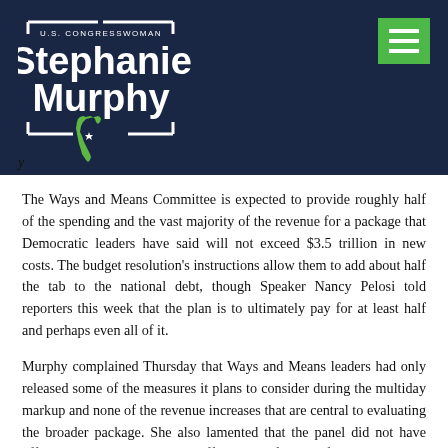[Figure (logo): U.S. Congresswoman Stephanie Murphy logo with white bracket frame and Florida state outline in green, on dark navy background. Green hamburger menu icon in top right.]
y
The Ways and Means Committee is expected to provide roughly half of the spending and the vast majority of the revenue for a package that Democratic leaders have said will not exceed $3.5 trillion in new costs. The budget resolution's instructions allow them to add about half the tab to the national debt, though Speaker Nancy Pelosi told reporters this week that the plan is to ultimately pay for at least half and perhaps even all of it.
Murphy complained Thursday that Ways and Means leaders had only released some of the measures it plans to consider during the multiday markup and none of the revenue increases that are central to evaluating the broader package. She also lamented that the panel did not have official Congressional Budget Office scores for any of its proposals.